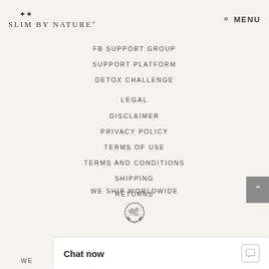SLIM BY NATURE®
FB SUPPORT GROUP
SUPPORT PLATFORM
DETOX CHALLENGE
LEGAL
DISCLAIMER
PRIVACY POLICY
TERMS OF USE
TERMS AND CONDITIONS
SHIPPING
RETURNS
WE SHIP WORLDWIDE
[Figure (illustration): Globe with hands icon representing worldwide shipping]
WE
Chat now